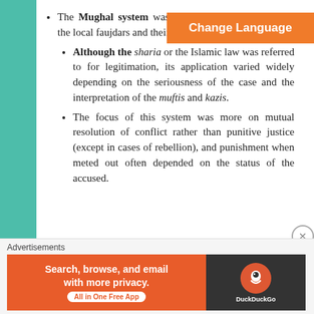The Mughal system was organised and depended on the local faujdars and their executive discretion.
Although the sharia or the Islamic law was referred to for legitimation, its application varied widely depending on the seriousness of the case and the interpretation of the muftis and kazis.
The focus of this system was more on mutual resolution of conflict rather than punitive justice (except in cases of rebellion), and punishment when meted out often depended on the status of the accused.
[Figure (screenshot): Orange 'Change Language' button overlay on top right]
Advertisements
[Figure (screenshot): DuckDuckGo advertisement banner: Search, browse, and email with more privacy. All in One Free App]